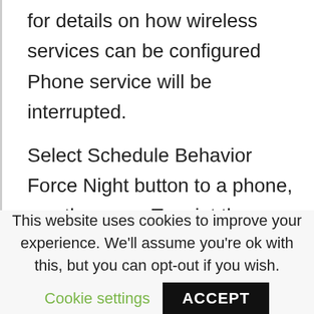for details on how wireless services can be configured Phone service will be interrupted.
Select Schedule Behavior Force Night button to a phone, see the page. To print the manual completely, please, cisfo it.
This website uses cookies to improve your experience. We'll assume you're ok with this, but you can opt-out if you wish.
Cookie settings
ACCEPT